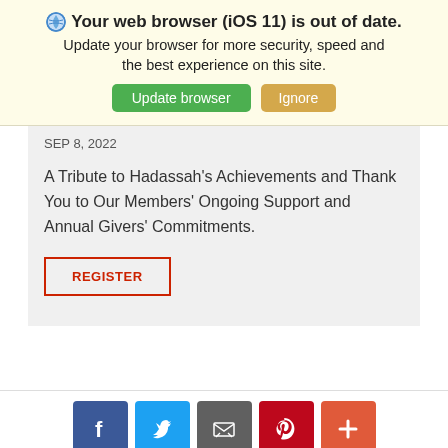🌐 Your web browser (iOS 11) is out of date. Update your browser for more security, speed and the best experience on this site.
Update browser | Ignore
SEP 8, 2022
A Tribute to Hadassah's Achievements and Thank You to Our Members' Ongoing Support and Annual Givers' Commitments.
REGISTER
[Figure (other): Social media share buttons: Facebook, Twitter, Email, Pinterest, More (+)]